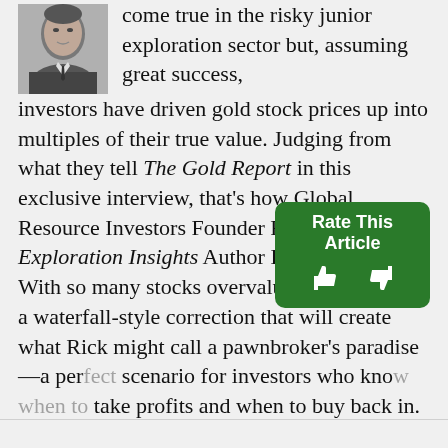[Figure (photo): Black and white headshot photo of a man in a suit, cropped at upper left]
come true in the risky junior exploration sector but, assuming great success, investors have driven gold stock prices up into multiples of their true value. Judging from what they tell The Gold Report in this exclusive interview, that's how Global Resource Investors Founder Rick Rule and Exploration Insights Author Brent Cook see it. With so many stocks overvalued, they foresee a waterfall-style correction that will create what Rick might call a pawnbroker's paradise—a perfect scenario for investors who know when to take profits and when to buy back in.